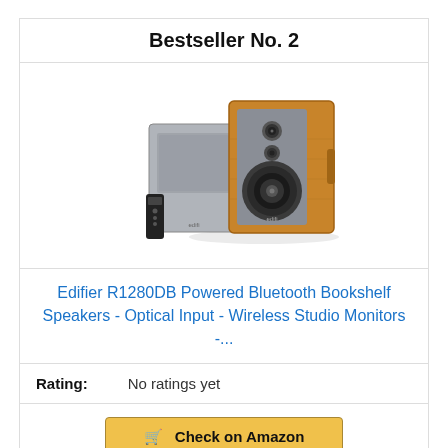Bestseller No. 2
[Figure (photo): Edifier R1280DB powered Bluetooth bookshelf speakers with remote control — two wood-cabinet speakers shown, one gray front-facing and one brown wood-grain with visible drivers, plus a small remote control]
Edifier R1280DB Powered Bluetooth Bookshelf Speakers - Optical Input - Wireless Studio Monitors -...
Rating: No ratings yet
Check on Amazon